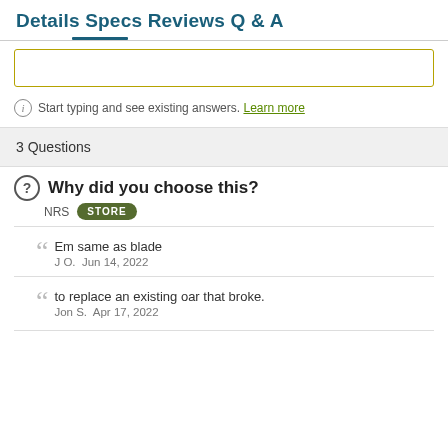Details Specs Reviews Q & A
Start typing and see existing answers. Learn more
3 Questions
Why did you choose this?
NRS  STORE
Em same as blade
J O.  Jun 14, 2022
to replace an existing oar that broke.
Jon S.  Apr 17, 2022